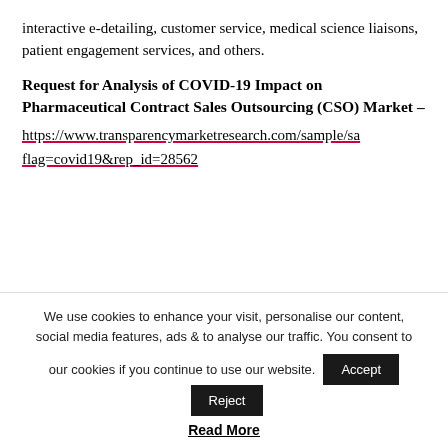interactive e-detailing, customer service, medical science liaisons, patient engagement services, and others.
Request for Analysis of COVID-19 Impact on Pharmaceutical Contract Sales Outsourcing (CSO) Market –
https://www.transparencymarketresearch.com/sample/sample.php?flag=covid19&rep_id=28562
We use cookies to enhance your visit, personalise our content, social media features, ads & to analyse our traffic. You consent to our cookies if you continue to use our website.
Read More